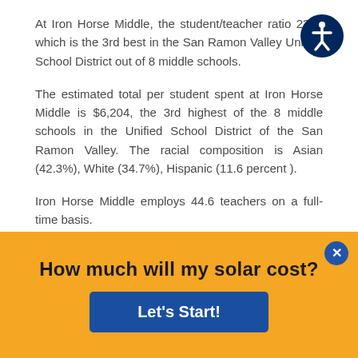At Iron Horse Middle, the student/teacher ratio 23.9, which is the 3rd best in the San Ramon Valley Unified School District out of 8 middle schools.
The estimated total per student spent at Iron Horse Middle is $6,204, the 3rd highest of the 8 middle schools in the Unified School District of the San Ramon Valley. The racial composition is Asian (42.3%), White (34.7%), Hispanic (11.6 percent ).
Iron Horse Middle employs 44.6 teachers on a full-time basis.
Either by phone or email, they don't hesitate to reach
[Figure (other): Accessibility icon — white stick figure in a circle on dark blue background, top right corner]
How much will my solar cost?
Let's Start!